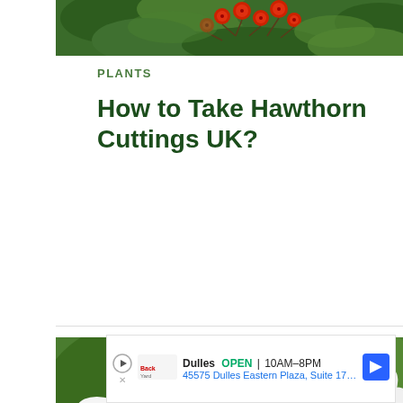[Figure (photo): Close-up photo of red hawthorn berries on a branch with green leaves, partially cropped at top of page]
PLANTS
How to Take Hawthorn Cuttings UK?
[Figure (photo): Close-up photo of white hawthorn flowers with green leaves in the background]
[Figure (other): Advertisement banner: Dulles OPEN | 10AM-8PM, 45575 Dulles Eastern Plaza, Suite 171, D]